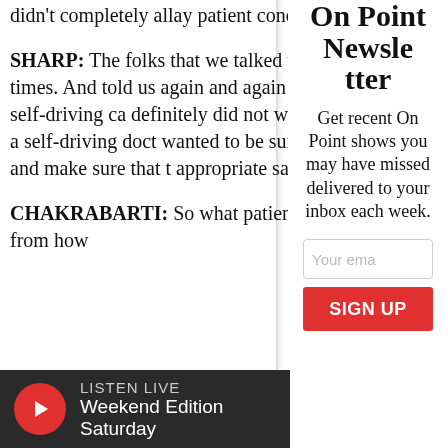didn't completely allay patient concerns. SHARP: The folks that we talked to mentioned riding in self-driving cars multiple times. And what they told us again and again was that they were uncomfortable with a self-driving car. They definitely did not want a self-driving doctor. They did not want a self-driving doctor. They wanted to be sure that they had the ability to get to the real deal and make sure that there were appropriate safety checks in place.
On Point Newsletter
Get recent On Point shows you may have missed delivered to your inbox each week.
CHAKRABARTI: So what patients really wanted was Transparency. Everything from how...
LISTEN LIVE Weekend Edition Saturday